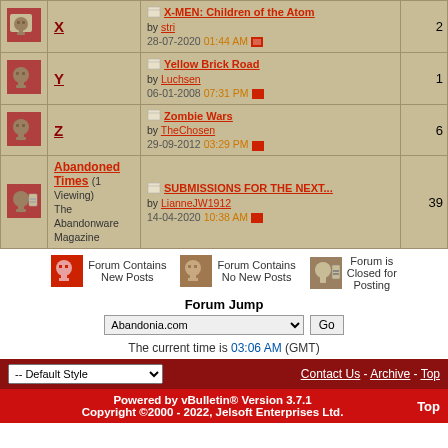|  | Forum | Last Post | Posts |
| --- | --- | --- | --- |
| [icon] | X | X-MEN: Children of the Atom / by stri / 28-07-2020 01:44 AM | 2 |
| [icon] | Y | Yellow Brick Road / by Luchsen / 06-01-2008 07:31 PM | 1 |
| [icon] | Z | Zombie Wars / by TheChosen / 29-09-2012 03:29 PM | 6 |
| [icon] | Abandoned Times (1 Viewing) The Abandonware Magazine | SUBMISSIONS FOR THE NEXT... / by LianneJW1912 / 14-04-2020 10:38 AM | 39 |
Forum Contains New Posts | Forum Contains No New Posts | Forum is Closed for Posting
Forum Jump
Abandonia.com
The current time is 03:06 AM (GMT)
-- Default Style | Contact Us - Archive - Top
Powered by vBulletin® Version 3.7.1 Copyright ©2000 - 2022, Jelsoft Enterprises Ltd. Top